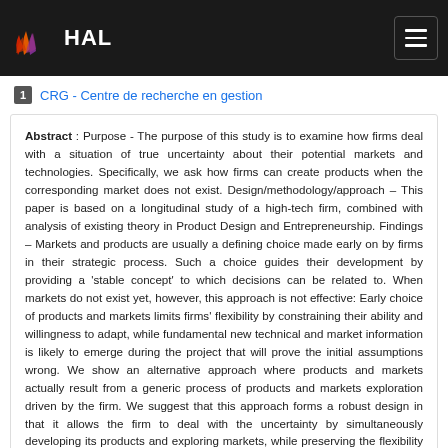HAL
1 CRG - Centre de recherche en gestion
Abstract : Purpose - The purpose of this study is to examine how firms deal with a situation of true uncertainty about their potential markets and technologies. Specifically, we ask how firms can create products when the corresponding market does not exist. Design/methodology/approach – This paper is based on a longitudinal study of a high-tech firm, combined with analysis of existing theory in Product Design and Entrepreneurship. Findings – Markets and products are usually a defining choice made early on by firms in their strategic process. Such a choice guides their development by providing a 'stable concept' to which decisions can be related to. When markets do not exist yet, however, this approach is not effective: Early choice of products and markets limits firms' flexibility by constraining their ability and willingness to adapt, while fundamental new technical and market information is likely to emerge during the project that will prove the initial assumptions wrong. We show an alternative approach where products and markets actually result from a generic process of products and markets exploration driven by the firm. We suggest that this approach forms a robust design in that it allows the firm to deal with the uncertainty by simultaneously developing its products and exploring markets, while preserving the flexibility to adapt to the changing environment. Practical implications – The practical implication of this paper